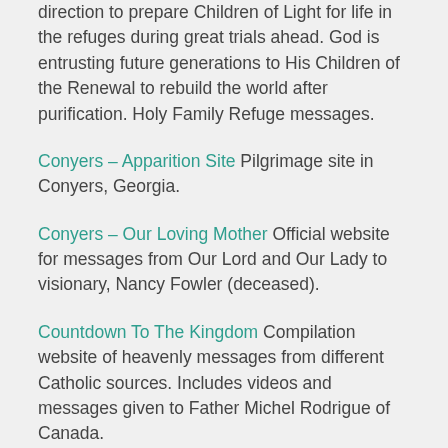direction to prepare Children of Light for life in the refuges during great trials ahead. God is entrusting future generations to His Children of the Renewal to rebuild the world after purification. Holy Family Refuge messages.
Conyers – Apparition Site Pilgrimage site in Conyers, Georgia.
Conyers – Our Loving Mother Official website for messages from Our Lord and Our Lady to visionary, Nancy Fowler (deceased).
Countdown To The Kingdom Compilation website of heavenly messages from different Catholic sources. Includes videos and messages given to Father Michel Rodrigue of Canada.